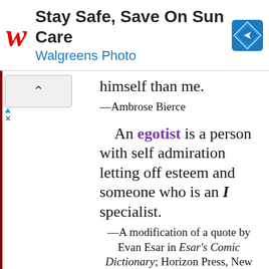[Figure (screenshot): Walgreens advertisement banner: red cursive W logo, headline 'Stay Safe, Save On Sun Care', subtext 'Walgreens Photo', and a blue navigation/map icon on the right.]
himself than me.
—Ambrose Bierce
An egotist is a person with self admiration letting off esteem and someone who is an I specialist.
—A modification of a quote by Evan Esar in Esar's Comic Dictionary; Horizon Press, New York; 1960.